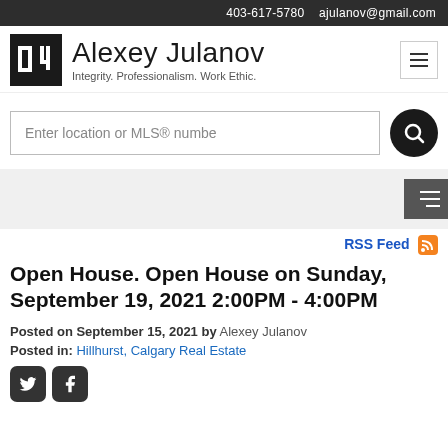403-617-5780   ajulanov@gmail.com
Alexey Julanov
Integrity. Professionalism. Work Ethic.
Enter location or MLS® numbe
RSS Feed
Open House. Open House on Sunday, September 19, 2021 2:00PM - 4:00PM
Posted on September 15, 2021 by Alexey Julanov
Posted in: Hillhurst, Calgary Real Estate
[Figure (illustration): Twitter and Facebook social sharing icons]